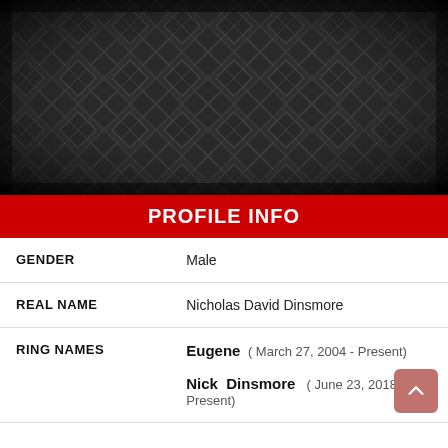[Figure (photo): Dark metal diamond plate texture background image]
PROFILE INFO
| GENDER | Male |
| REAL NAME | Nicholas David Dinsmore |
| RING NAMES | Eugene ( March 27, 2004 - Present)
Nick Dinsmore ( June 23, 2018 - Present) |